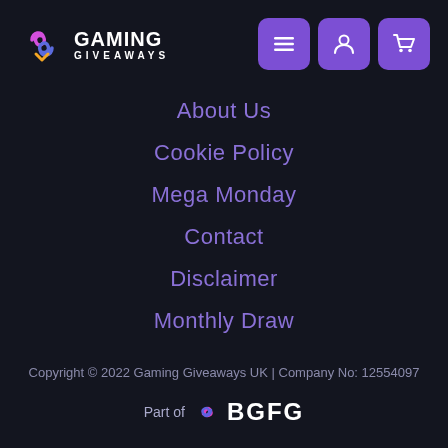[Figure (logo): Gaming Giveaways logo with colorful swirl icon and white text]
[Figure (other): Navigation buttons: hamburger menu, user account, and shopping cart icons on purple rounded square backgrounds]
About Us
Cookie Policy
Mega Monday
Contact
Disclaimer
Monthly Draw
Copyright © 2022 Gaming Giveaways UK | Company No: 12554097
Part of BGFG